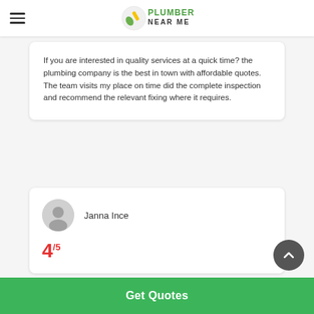Plumber Near Me
If you are interested in quality services at a quick time? the plumbing company is the best in town with affordable quotes. The team visits my place on time did the complete inspection and recommend the relevant fixing where it requires.
Janna Ince
4/5
Get Quotes